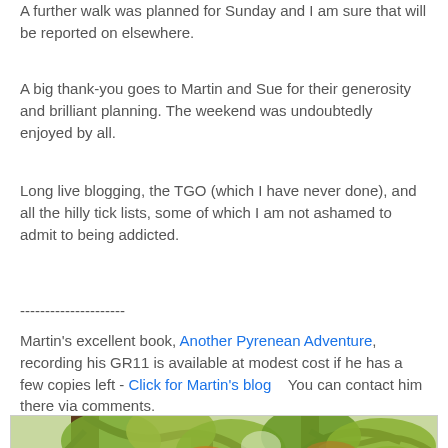A further walk was planned for Sunday and I am sure that will be reported on elsewhere.
A big thank-you goes to Martin and Sue for their generosity and brilliant planning. The weekend was undoubtedly enjoyed by all.
Long live blogging, the TGO (which I have never done), and all the hilly tick lists, some of which I am not ashamed to admit to being addicted.
---------------------
Martin's excellent book, Another Pyrenean Adventure, recording his GR11 is available at modest cost if he has a few copies left - Click for Martin's blog    You can contact him there via comments.
[Figure (photo): Photograph of tree branches with green and yellow-orange autumn foliage viewed from below against bright sky]